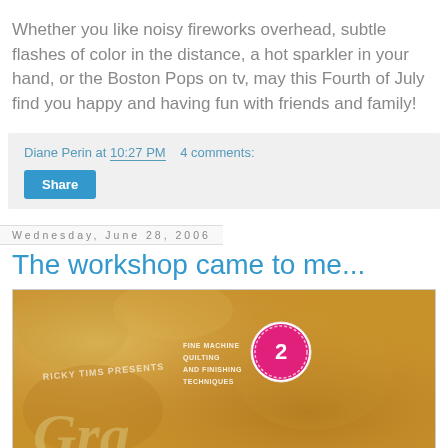Whether you like noisy fireworks overhead, subtle flashes of color in the distance, a hot sparkler in your hand, or the Boston Pops on tv, may this Fourth of July find you happy and having fun with friends and family!
Diane Perin at 10:27 PM   4 comments:
Share
Wednesday, June 28, 2006
The workshop came to me...
[Figure (photo): Book cover showing 'Ricky Tims Presents Fine Machine Quilting and Finishing Techniques' with a pink badge showing number 2, on a golden/tan textured background with decorative script text]